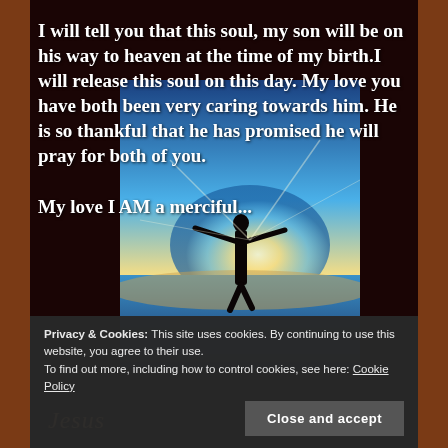[Figure (photo): A silhouette of a person standing on a beach with arms outstretched, with bright sunlight and blue sky/water in the background]
I will tell you that this soul, my son will be on his way to heaven at the time of my birth.I will release this soul on this day. My love you have both been very caring towards him. He is so thankful that he has promised he will pray for both of you.
My love I AM a merciful...
Privacy & Cookies: This site uses cookies. By continuing to use this website, you agree to their use.
To find out more, including how to control cookies, see here: Cookie Policy
Close and accept
Jesus